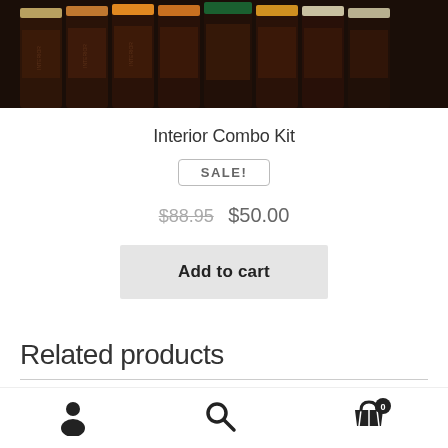[Figure (photo): Row of dark brown bottles with colored caps/labels (orange, yellow, green) showing paint or dye products, cropped at top of page]
Interior Combo Kit
SALE!
$88.95  $50.00
Add to cart
Related products